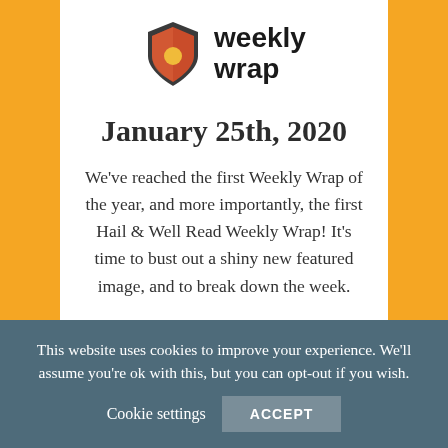[Figure (logo): Weekly Wrap logo: a shield icon in red/orange with a yellow circle, next to bold text 'weekly wrap']
January 25th, 2020
We've reached the first Weekly Wrap of the year, and more importantly, the first Hail & Well Read Weekly Wrap! It's time to bust out a shiny new featured image, and to break down the week.
This website uses cookies to improve your experience. We'll assume you're ok with this, but you can opt-out if you wish. Cookie settings ACCEPT